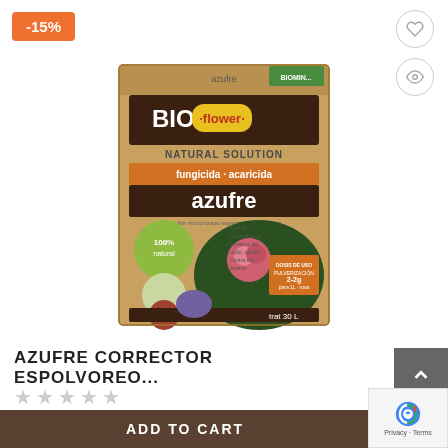-15%
[Figure (photo): Product photo of BIO flower Natural Solution azufre fungicida acaricida box, showing a brown box with plant/flower images and product details]
AZUFRE CORRECTOR ESPOLVOREO...
★★★★★ (empty stars rating)
€5.25  €4.46
ADD TO CART